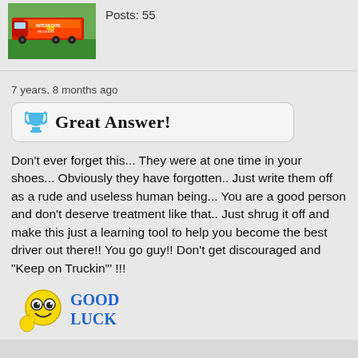[Figure (photo): A racing truck/semi with colorful graphics on a track, small thumbnail image]
Posts: 55
7 years, 8 months ago
[Figure (infographic): Great Answer badge with trophy icon and bold text reading GREAT ANSWER!]
Don't ever forget this... They were at one time in your shoes... Obviously they have forgotten.. Just write them off as a rude and useless human being... You are a good person and don't deserve treatment like that.. Just shrug it off and make this just a learning tool to help you become the best driver out there!! You go guy!! Don't get discouraged and "Keep on Truckin'" !!!
[Figure (illustration): Good Luck emoji sticker with cartoon face giving thumbs up and text GOOD LUCK in blue]